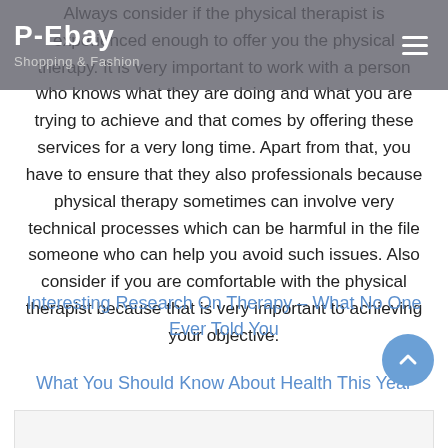P-Ebay
Shopping & Fashion
Always consider if the physical therapist is experienced enough to offer you the physical therapy. It is very important to work with a person who knows what they are doing and what you are trying to achieve and that comes by offering these services for a very long time. Apart from that, you have to ensure that they also professionals because physical therapy sometimes can involve very technical processes which can be harmful in the file someone who can help you avoid such issues. Also consider if you are comfortable with the physical therapist because that is very important to achieving your objective.
Interesting Research On Therapy – What No One Ever Told You
What You Should Know About Health This Year